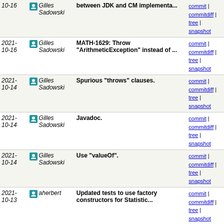| Date | Author | Commit message | Links |
| --- | --- | --- | --- |
| 2021-10-16 | Gilles Sadowski | between JDK and CM implementa... | commit | commitdiff | tree | snapshot |
| 2021-10-16 | Gilles Sadowski | MATH-1629: Throw "ArithmeticException" instead of ... | commit | commitdiff | tree | snapshot |
| 2021-10-14 | Gilles Sadowski | Spurious "throws" clauses. | commit | commitdiff | tree | snapshot |
| 2021-10-14 | Gilles Sadowski | Javadoc. | commit | commitdiff | tree | snapshot |
| 2021-10-14 | Gilles Sadowski | Use "valueOf". | commit | commitdiff | tree | snapshot |
| 2021-10-13 | aherbert | Updated tests to use factory constructors for Statistic... | commit | commitdiff | tree | snapshot |
| 2021-10-13 | aherbert | Updated SpotBugs 3.1.8 to 4.3.0 to allow building on... | commit | commitdiff | tree | snapshot |
| 2021-10-13 | aherbert | Updated to use factory constructors for Statistics... | commit | commitdiff | tree | snapshot |
| 2021-09-26 | Gilles Sadowski | MATH-1462: Extend workaround for bins that contain... | commit | commitdiff | tree | snapshot |
| 2021-09-18 | Maciej Kwidzinski | MATH-1462: Reproduce the infinite quantile bug | commit | commitdiff | tree | snapshot |
| 2021-09-18 | Gilles Sadowski | Javadoc. | commit | commitdiff | tree | snapshot |